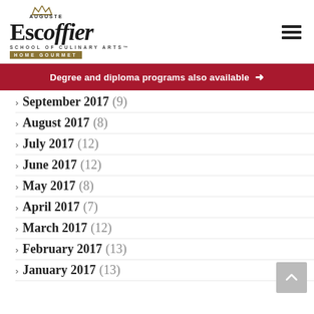Auguste Escoffier School of Culinary Arts Home Gourmet
Degree and diploma programs also available →
September 2017 (9)
August 2017 (8)
July 2017 (12)
June 2017 (12)
May 2017 (8)
April 2017 (7)
March 2017 (12)
February 2017 (13)
January 2017 (13)